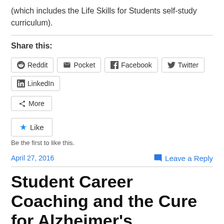(which includes the Life Skills for Students self-study curriculum).
Share this:
Reddit  Pocket  Facebook  Twitter  LinkedIn
More
Like
Be the first to like this.
April 27, 2016    Leave a Reply
Student Career Coaching and the Cure for Alzheimer's